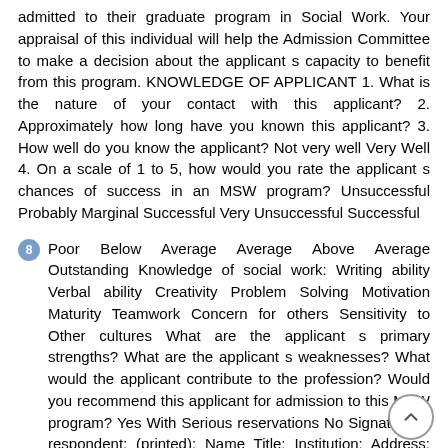admitted to their graduate program in Social Work. Your appraisal of this individual will help the Admission Committee to make a decision about the applicant s capacity to benefit from this program. KNOWLEDGE OF APPLICANT 1. What is the nature of your contact with this applicant? 2. Approximately how long have you known this applicant? 3. How well do you know the applicant? Not very well Very Well 4. On a scale of 1 to 5, how would you rate the applicant s chances of success in an MSW program? Unsuccessful Probably Marginal Successful Very Unsuccessful Successful
8 Poor Below Average Average Above Average Outstanding Knowledge of social work: Writing ability Verbal ability Creativity Problem Solving Motivation Maturity Teamwork Concern for others Sensitivity to Other cultures What are the applicant s primary strengths? What are the applicant s weaknesses? What would the applicant contribute to the profession? Would you recommend this applicant for admission to this MSW program? Yes With Serious reservations No Signature of respondent: (printed): Name Title: Institution: Address: Phone: